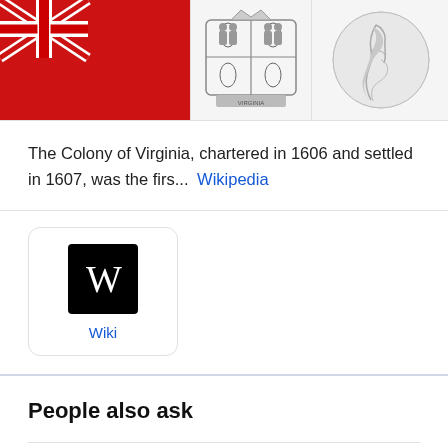[Figure (photo): Three images in a row: a red British colonial flag (Red Ensign with Union Jack), a black-and-white coat of arms/crest, and a partial globe showing the Americas.]
The Colony of Virginia, chartered in 1606 and settled in 1607, was the firs...  Wikipedia
[Figure (logo): Wikipedia 'W' logo in white on black background, with 'Wiki' label in blue below.]
People also ask
Who founded the colonies and why?
Who are the famous people in the colony of Virginia?